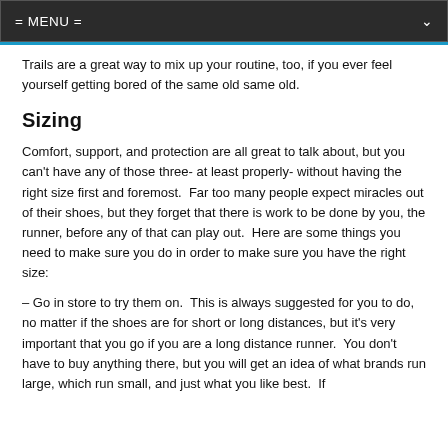= MENU =
Trails are a great way to mix up your routine, too, if you ever feel yourself getting bored of the same old same old.
Sizing
Comfort, support, and protection are all great to talk about, but you can't have any of those three- at least properly- without having the right size first and foremost.  Far too many people expect miracles out of their shoes, but they forget that there is work to be done by you, the runner, before any of that can play out.  Here are some things you need to make sure you do in order to make sure you have the right size:
– Go in store to try them on.  This is always suggested for you to do, no matter if the shoes are for short or long distances, but it's very important that you go if you are a long distance runner.  You don't have to buy anything there, but you will get an idea of what brands run large, which run small, and just what you like best.  If